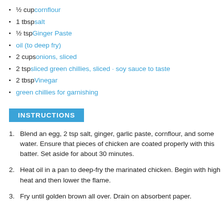½ cup cornflour
1 tbsp salt
½ tsp Ginger Paste
oil (to deep fry)
2 cups onions, sliced
2 tsp sliced green chillies, sliced · soy sauce to taste
2 tbsp Vinegar
green chillies for garnishing
INSTRUCTIONS
1. Blend an egg, 2 tsp salt, ginger, garlic paste, cornflour, and some water. Ensure that pieces of chicken are coated properly with this batter. Set aside for about 30 minutes.
2. Heat oil in a pan to deep-fry the marinated chicken. Begin with high heat and then lower the flame.
3. Fry until golden brown all over. Drain on absorbent paper.